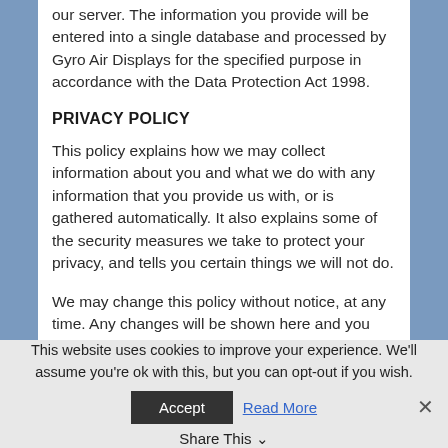our server. The information you provide will be entered into a single database and processed by Gyro Air Displays for the specified purpose in accordance with the Data Protection Act 1998.
PRIVACY POLICY
This policy explains how we may collect information about you and what we do with any information that you provide us with, or is gathered automatically. It also explains some of the security measures we take to protect your privacy, and tells you certain things we will not do.
We may change this policy without notice, at any time. Any changes will be shown here and you should therefore revisit this, and any other relevant pages, from time to time to see what we do with such information. Any personal information provided by you to Gyro Air
This website uses cookies to improve your experience. We'll assume you're ok with this, but you can opt-out if you wish.
Accept
Read More
Share This